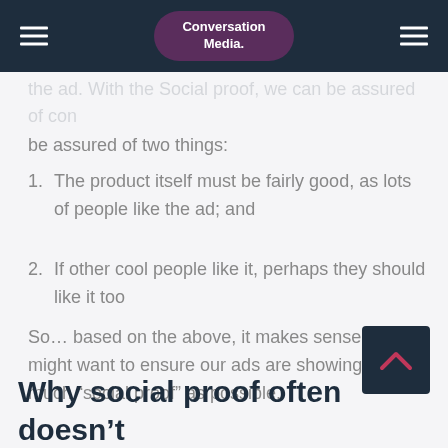Conversation Media.
be assured of two things:
1. The product itself must be fairly good, as lots of people like the ad; and
2. If other cool people like it, perhaps they should like it too
So… based on the above, it makes sense that we might want to ensure our ads are showing as much “social proof” as possible.
Why social proof often doesn’t